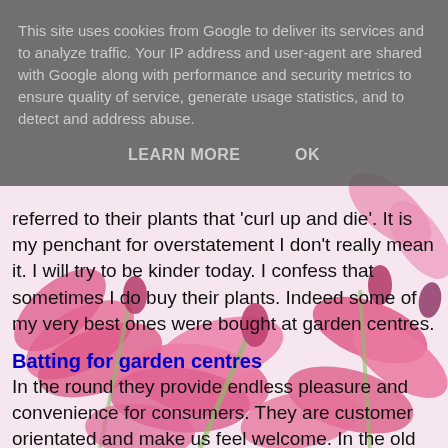[Figure (photo): Pink flowering plants (bleeding heart or similar pink flowers) as background image behind the main text content]
This site uses cookies from Google to deliver its services and to analyze traffic. Your IP address and user-agent are shared with Google along with performance and security metrics to ensure quality of service, generate usage statistics, and to detect and address abuse.
LEARN MORE    OK
referred to their plants that 'curl up and die'. It is my penchant for overstatement I don't really mean it. I will try to be kinder today. I confess that sometimes I do buy their plants. Indeed some of my very best ones were bought at garden centres.
Batting for garden centres
In the round they provide endless pleasure and convenience for consumers. They are customer orientated and make us feel welcome. In the old days I would go to a nursery and apologise for bothering them.